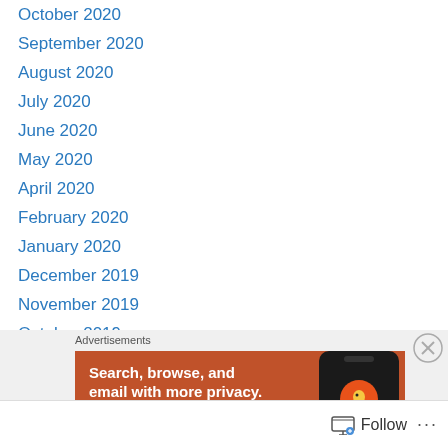October 2020
September 2020
August 2020
July 2020
June 2020
May 2020
April 2020
February 2020
January 2020
December 2019
November 2019
October 2019
September 2019
August 2019
[Figure (screenshot): DuckDuckGo advertisement banner: orange background with white text 'Search, browse, and email with more privacy.' with a phone image showing the DuckDuckGo logo and a partially visible white button]
Follow
Advertisements